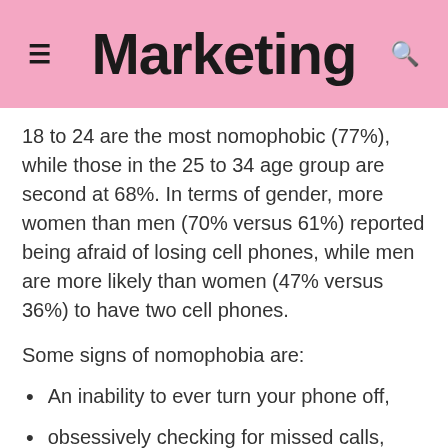Marketing
18 to 24 are the most nomophobic (77%), while those in the 25 to 34 age group are second at 68%. In terms of gender, more women than men (70% versus 61%) reported being afraid of losing cell phones, while men are more likely than women (47% versus 36%) to have two cell phones.
Some signs of nomophobia are:
An inability to ever turn your phone off,
obsessively checking for missed calls, emails and texts,
constantly topping up your battery life, and